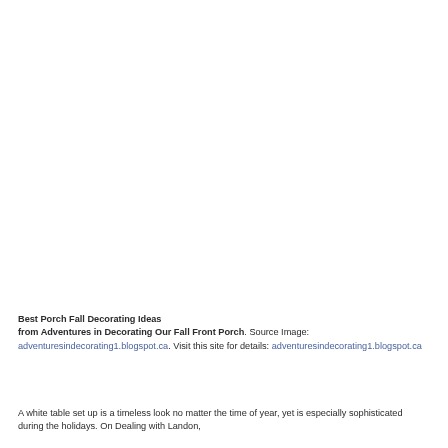[Figure (photo): Photograph of a fall porch decorating scene (image area is blank/white in this rendering)]
Best Porch Fall Decorating Ideas from Adventures in Decorating Our Fall Front Porch. Source Image: adventuresindecorating1.blogspot.ca. Visit this site for details: adventuresindecorating1.blogspot.ca
A white table set up is a timeless look no matter the time of year, yet is especially sophisticated during the holidays. On Dealing with Landon,